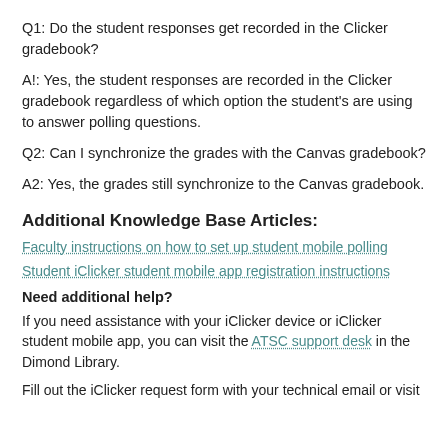Q1:  Do the student responses get recorded in the Clicker gradebook?
A!:  Yes, the student responses are recorded in the Clicker gradebook regardless of which option the student's are using to answer polling questions.
Q2:  Can I synchronize the grades with the Canvas gradebook?
A2:  Yes, the grades still synchronize to the Canvas gradebook.
Additional Knowledge Base Articles:
Faculty instructions on how to set up student mobile polling
Student iClicker student mobile app registration instructions
Need additional help?
If you need assistance with your iClicker device or iClicker student mobile app, you can visit the ATSC support desk in the Dimond Library.
Fill out the iClicker request form with your technical email or visit